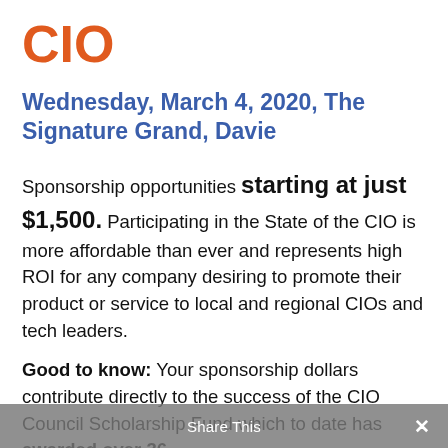CIO
Wednesday, March 4, 2020, The Signature Grand, Davie
Sponsorship opportunities starting at just $1,500. Participating in the State of the CIO is more affordable than ever and represents high ROI for any company desiring to promote their product or service to local and regional CIOs and tech leaders.
Good to know: Your sponsorship dollars contribute directly to the success of the CIO Council Scholarship Fund which to date has awarded over 36
Share This ×